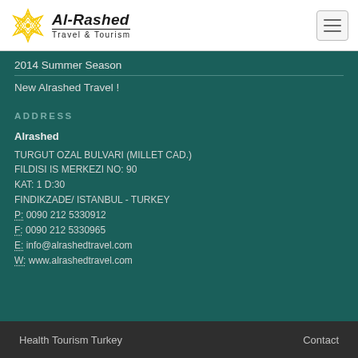[Figure (logo): Al-Rashed Travel & Tourism logo with yellow geometric star/flower icon and bold italic text]
2014 Summer Season
New Alrashed Travel !
ADDRESS
Alrashed
TURGUT OZAL BULVARI (MILLET CAD.)
FILDISI IS MERKEZI NO: 90
KAT: 1 D:30
FINDIKZADE/ ISTANBUL - TURKEY
P: 0090 212 5330912
F: 0090 212 5330965
E: info@alrashedtravel.com
W: www.alrashedtravel.com
Health Tourism Turkey    Contact